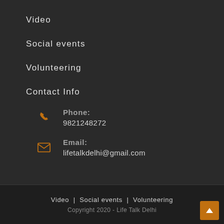Video
Social events
Volunteering
Contact Info
Phone: 9821248272
Email: lifetalkdelhi@gmail.com
Video | Social events | Volunteering
Copyright 2020 - Life Talk Delhi